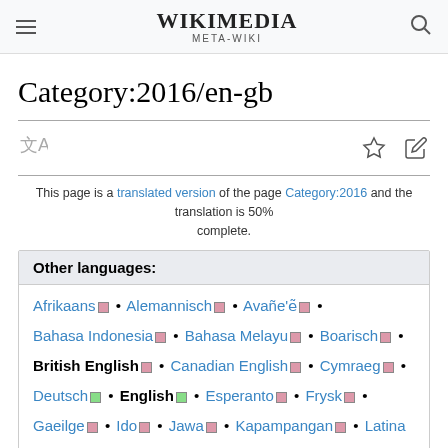WIKIMEDIA META-WIKI
Category:2016/en-gb
This page is a translated version of the page Category:2016 and the translation is 50% complete.
Other languages: Afrikaans • Alemannisch • Avañe'ẽ • Bahasa Indonesia • Bahasa Melayu • Boarisch • British English • Canadian English • Cymraeg • Deutsch • English • Esperanto • Frysk • Gaeilge • Ido • Jawa • Kapampangan • Latina • Lëtzebuergesch • Napulitano • Nederlands • Nordfriisk • Scots • Tagalog • Tiếng Việt